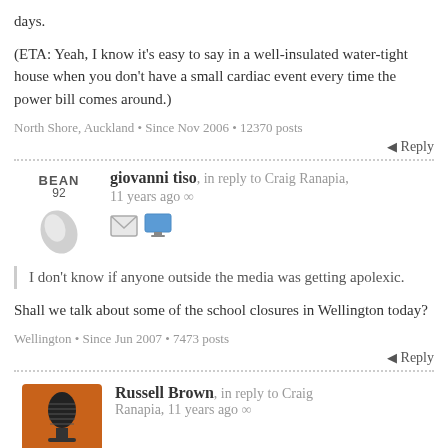days.
(ETA: Yeah, I know it’s easy to say in a well-insulated water-tight house when you don’t have a small cardiac event every time the power bill comes around.)
North Shore, Auckland • Since Nov 2006 • 12370 posts
Reply
giovanni tiso, in reply to Craig Ranapia, 11 years ago
I don’t know if anyone outside the media was getting apolexic.
Shall we talk about some of the school closures in Wellington today?
Wellington • Since Jun 2007 • 7473 posts
Reply
Russell Brown, in reply to Craig Ranapia, 11 years ago